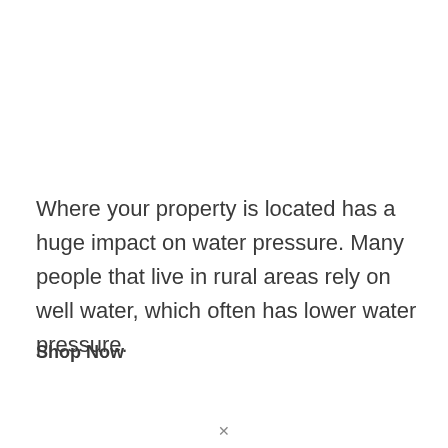Where your property is located has a huge impact on water pressure. Many people that live in rural areas rely on well water, which often has lower water pressure.
Shop Now
[Figure (photo): Three advertisement banner images at the bottom: a Doritos/snack mix package with yellow and red/black packaging on the left, a thin yellow/gold bar in the center, and a dark blue/red box (appears to be a game or product) on the right.]